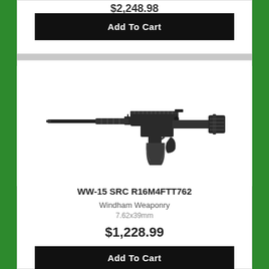$2,248.98
Add To Cart
[Figure (photo): Black AR-15 style rifle (WW-15 SRC R16M4FTT762) with AK-style magazine, shown in profile on white background]
WW-15 SRC R16M4FTT762
Windham Weaponry
7.62x39mm
$1,228.99
Add To Cart